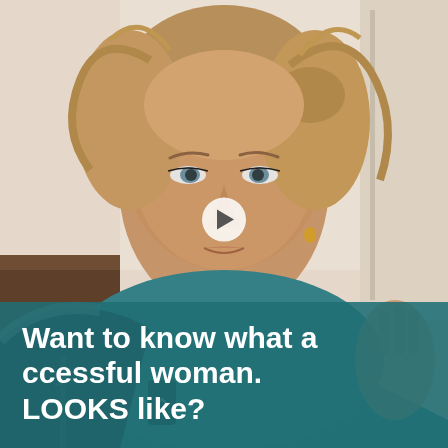[Figure (photo): Close-up photo of a middle-aged woman with light brown hair loosely tied back, wearing a teal/green top and a dark jacket with fur trim, holding something in her right hand raised near her face. Background shows a room interior with hexagonal wall decor and furniture. A white circular play button is overlaid in the center of the image.]
Want to know what a successful woman. LOOKS like?